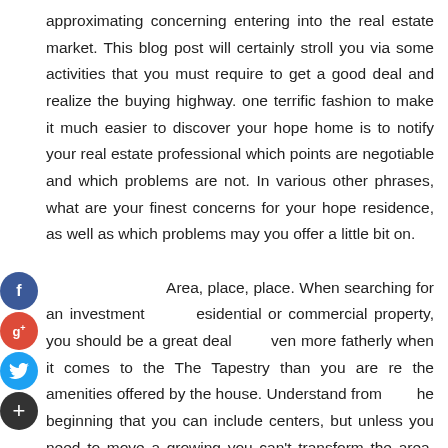approximating concerning entering into the real estate market. This blog post will certainly stroll you via some activities that you must require to get a good deal and realize the buying highway. one terrific fashion to make it much easier to discover your hope home is to notify your real estate professional which points are negotiable and which problems are not. In various other phrases, what are your finest concerns for your hope residence, as well as which problems may you offer a little bit on.

Area, place, place. When searching for an investment residential or commercial property, you should be a great deal ven more fatherly when it comes to the The Tapestry than you are re the amenities offered by the house. Understand from he beginning that you can include centers, but unless you need to move a growing you can't transform the area. This article is a try out our component to gather at solitary area all the